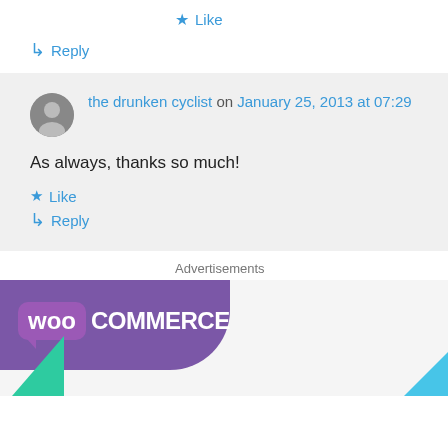★ Like
↳ Reply
the drunken cyclist on January 25, 2013 at 07:29
As always, thanks so much!
★ Like
↳ Reply
Advertisements
[Figure (logo): WooCommerce advertisement banner with purple background and logo]